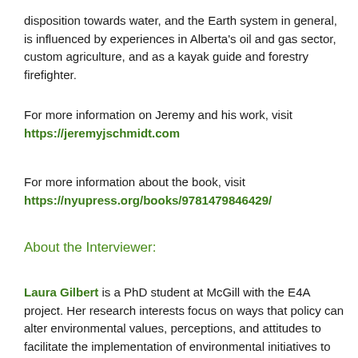disposition towards water, and the Earth system in general, is influenced by experiences in Alberta's oil and gas sector, custom agriculture, and as a kayak guide and forestry firefighter.
For more information on Jeremy and his work, visit https://jeremyjschmidt.com
For more information about the book, visit https://nyupress.org/books/9781479846429/
About the Interviewer:
Laura Gilbert is a PhD student at McGill with the E4A project. Her research interests focus on ways that policy can alter environmental values, perceptions, and attitudes to facilitate the implementation of environmental initiatives to